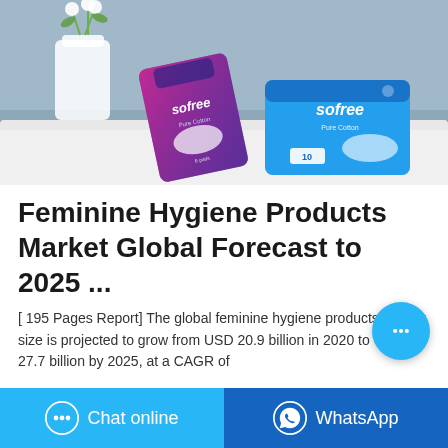[Figure (photo): Product photo showing two Sofree Pure Cotton feminine hygiene product packages (one pink/blue pouch and one flat blue pack with 10 count) on a white cloth surface with white flowers and a vase in the background against a blue-grey wall.]
Feminine Hygiene Products Market Global Forecast to 2025 ...
[ 195 Pages Report] The global feminine hygiene products market size is projected to grow from USD 20.9 billion in 2020 to USD 27.7 billion by 2025, at a CAGR of